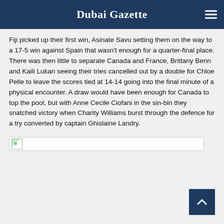Dubai Gazette
Fiji picked up their first win, Asinate Savu setting them on the way to a 17-5 win against Spain that wasn't enough for a quarter-final place. There was then little to separate Canada and France, Brittany Benn and Kaili Lukan seeing their tries cancelled out by a double for Chloe Pelle to leave the scores tied at 14-14 going into the final minute of a physical encounter. A draw would have been enough for Canada to top the pool, but with Anne Cecile Ciofani in the sin-bin they snatched victory when Charity Williams burst through the defence for a try converted by captain Ghislaine Landry.
[Figure (photo): Image placeholder with broken image icon]